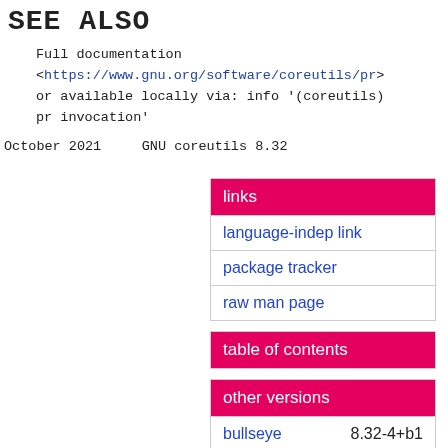SEE ALSO
Full documentation
<https://www.gnu.org/software/coreutils/pr>
or available locally via: info '(coreutils)
pr invocation'
October 2021    GNU coreutils 8.32
| links |
| --- |
| language-indep link |
| package tracker |
| raw man page |
| table of contents |
| --- |
| other versions |
| --- |
| bullseye | 8.32-4+b1 |
| testing | 8.32-4.1 |